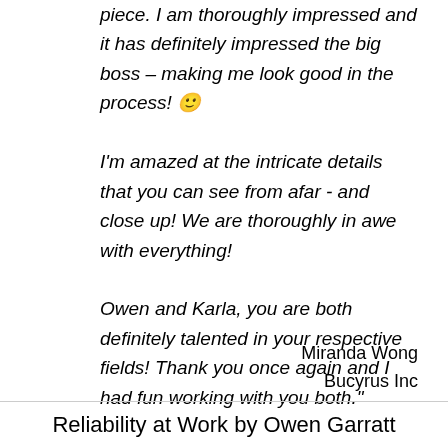piece. I am thoroughly impressed and it has definitely impressed the big boss – making me look good in the process! 🙂

I'm amazed at the intricate details that you can see from afar - and close up! We are thoroughly in awe with everything!

Owen and Karla, you are both definitely talented in your respective fields! Thank you once again and I had fun working with you both."
Miranda Wong
Bucyrus Inc
Reliability at Work by Owen Garratt